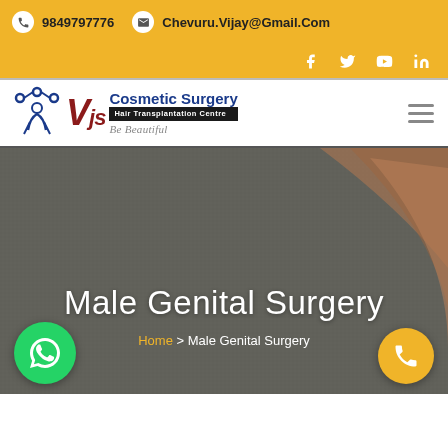9849797776  Chevuru.Vijay@Gmail.Com
[Figure (logo): VJS Cosmetic Surgery & Hair Transplantation Centre logo with tagline]
Male Genital Surgery
Home > Male Genital Surgery